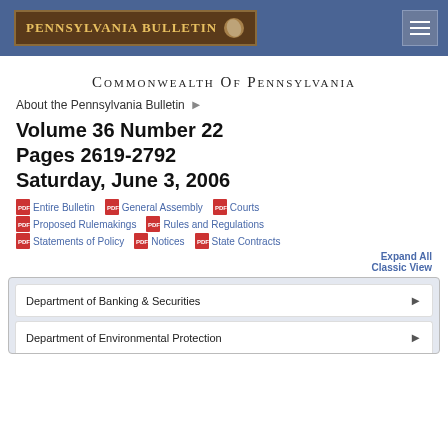PENNSYLVANIA BULLETIN
Commonwealth Of Pennsylvania
About the Pennsylvania Bulletin
Volume 36 Number 22
Pages 2619-2792
Saturday, June 3, 2006
Entire Bulletin
General Assembly
Courts
Proposed Rulemakings
Rules and Regulations
Statements of Policy
Notices
State Contracts
Expand All
Classic View
Department of Banking & Securities
Department of Environmental Protection